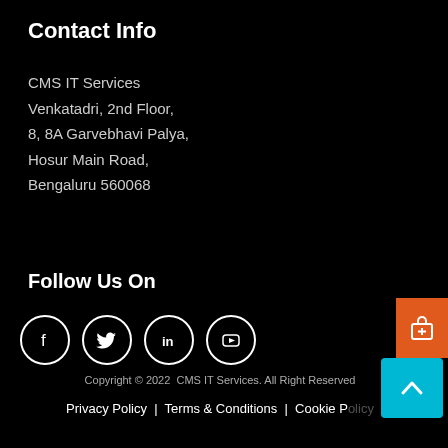Contact Info
CMS IT Services
Venkatadri, 2nd Floor,
8, 8A Garvebhavi Palya,
Hosur Main Road,
Bengaluru 560068
Follow Us On
[Figure (other): Social media icons: Facebook, Twitter, LinkedIn, YouTube — white circles on black background]
[Figure (other): Orange widget with briefcase/luggage icon on right edge]
[Figure (other): Cyan/teal back-to-top arrow button]
Copyright © 2022  CMS IT Services. All Right Reserved
Privacy Policy  |  Terms & Conditions  |  Cookie Policy